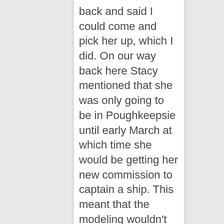back and said I could come and pick her up, which I did. On our way back here Stacy mentioned that she was only going to be in Poughkeepsie until early March at which time she would be getting her new commission to captain a ship. This meant that the modeling wouldn't work